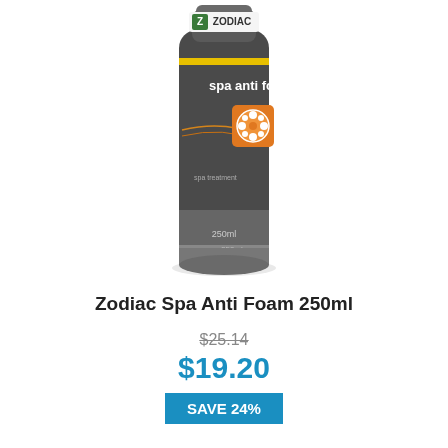[Figure (photo): Zodiac Spa Anti Foam 250ml bottle product photo. Dark grey cylindrical bottle with Zodiac logo at top, 'spa anti foam' text, orange icon with flower/spa symbol, and '250ml' at bottom.]
Zodiac Spa Anti Foam 250ml
$25.14 (strikethrough original price)
$19.20
SAVE 24%